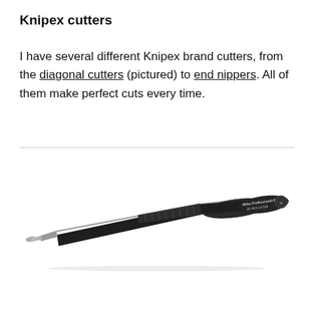Knipex cutters
I have several different Knipex brand cutters, from the diagonal cutters (pictured) to end nippers. All of them make perfect cuts every time.
[Figure (photo): A black Wiha Professional ESD precision tweezer/tool, model ZP 48 0 14 145, shown diagonally against a white background. The tool is slender and elongated with ridged grip texture and silver tips.]